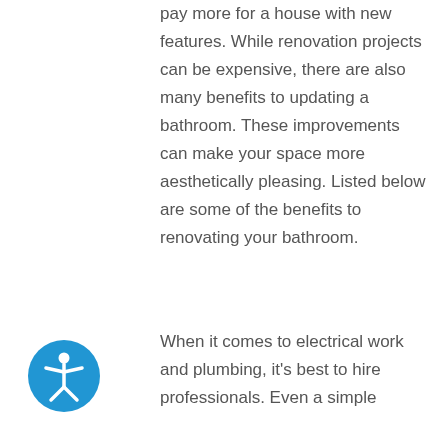pay more for a house with new features. While renovation projects can be expensive, there are also many benefits to updating a bathroom. These improvements can make your space more aesthetically pleasing. Listed below are some of the benefits to renovating your bathroom.
When it comes to electrical work and plumbing, it's best to hire professionals. Even a simple
[Figure (illustration): Blue circular accessibility icon showing a person figure with arms outstretched]